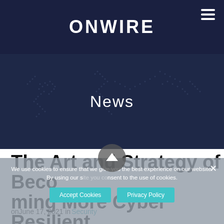ONWIRE
News
The Art and Strategy of Becoming More Cyber Resilient
on June 17, 2021 in Security
We use cookies to ensure that we give you the best experience on our website. By using our site you consent to the use of cookies.